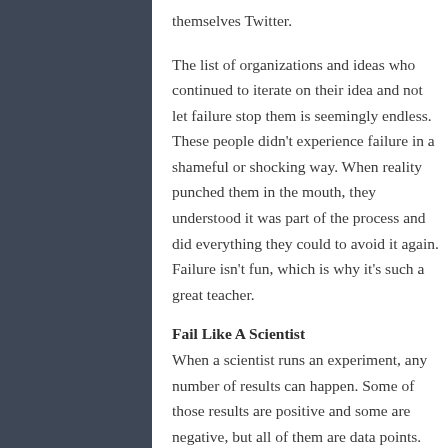themselves Twitter.
The list of organizations and ideas who continued to iterate on their idea and not let failure stop them is seemingly endless. These people didn't experience failure in a shameful or shocking way. When reality punched them in the mouth, they understood it was part of the process and did everything they could to avoid it again. Failure isn't fun, which is why it's such a great teacher.
Fail Like A Scientist
When a scientist runs an experiment, any number of results can happen. Some of those results are positive and some are negative, but all of them are data points.